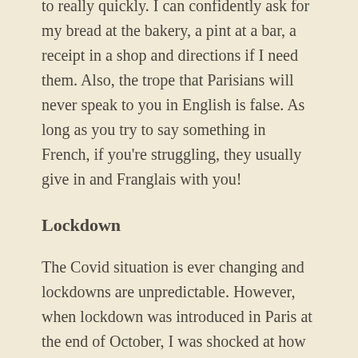to really quickly. I can confidently ask for my bread at the bakery, a pint at a bar, a receipt in a shop and directions if I need them. Also, the trope that Parisians will never speak to you in English is false. As long as you try to say something in French, if you're struggling, they usually give in and Franglais with you!
Lockdown
The Covid situation is ever changing and lockdowns are unpredictable. However, when lockdown was introduced in Paris at the end of October, I was shocked at how different it was to the first lockdown I had spent in England. When lockdown was strict in Paris, we were allowed to leave our flats for one hour per day, within a 5km radius and we had to fill in an attestation form to show we were out for a legitimate reason. Lockdown rules have been fluctuating over the past few months, but